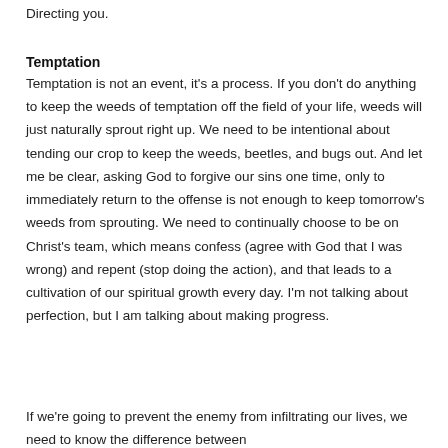Directing you.
Temptation
Temptation is not an event, it’s a process. If you don’t do anything to keep the weeds of temptation off the field of your life, weeds will just naturally sprout right up. We need to be intentional about tending our crop to keep the weeds, beetles, and bugs out. And let me be clear, asking God to forgive our sins one time, only to immediately return to the offense is not enough to keep tomorrow’s weeds from sprouting. We need to continually choose to be on Christ’s team, which means confess (agree with God that I was wrong) and repent (stop doing the action), and that leads to a cultivation of our spiritual growth every day. I’m not talking about perfection, but I am talking about making progress.
If we’re going to prevent the enemy from infiltrating our lives, we need to know the difference between